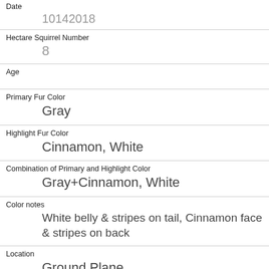| Date | 10142018 |
| Hectare Squirrel Number | 8 |
| Age |  |
| Primary Fur Color | Gray |
| Highlight Fur Color | Cinnamon, White |
| Combination of Primary and Highlight Color | Gray+Cinnamon, White |
| Color notes | White belly & stripes on tail, Cinnamon face & stripes on back |
| Location | Ground Plane |
| Above Ground Sighter Measurement | FALSE |
| Specific Location |  |